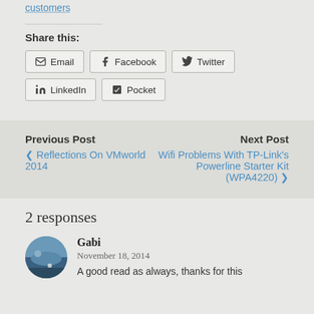customers
Share this:
Email | Facebook | Twitter | LinkedIn | Pocket
Previous Post
< Reflections On VMworld 2014
Next Post
Wifi Problems With TP-Link's Powerline Starter Kit (WPA4220) >
2 responses
Gabi
November 18, 2014
A good read as always, thanks for this